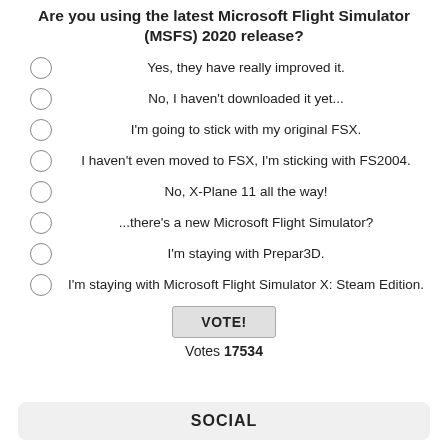Are you using the latest Microsoft Flight Simulator (MSFS) 2020 release?
Yes, they have really improved it.
No, I haven't downloaded it yet...
I'm going to stick with my original FSX.
I haven't even moved to FSX, I'm sticking with FS2004.
No, X-Plane 11 all the way!
...there's a new Microsoft Flight Simulator?
I'm staying with Prepar3D.
I'm staying with Microsoft Flight Simulator X: Steam Edition.
VOTE!
Votes 17534
SOCIAL